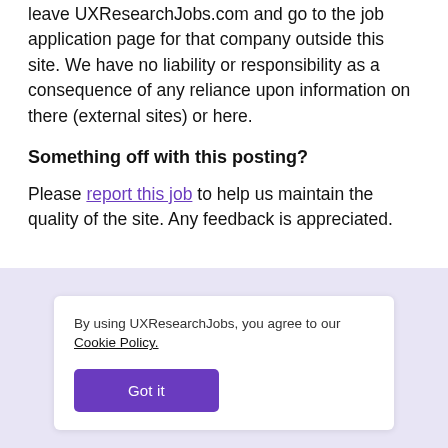leave UXResearchJobs.com and go to the job application page for that company outside this site. We have no liability or responsibility as a consequence of any reliance upon information on there (external sites) or here.
Something off with this posting?
Please report this job to help us maintain the quality of the site. Any feedback is appreciated.
By using UXResearchJobs, you agree to our Cookie Policy.
Got it